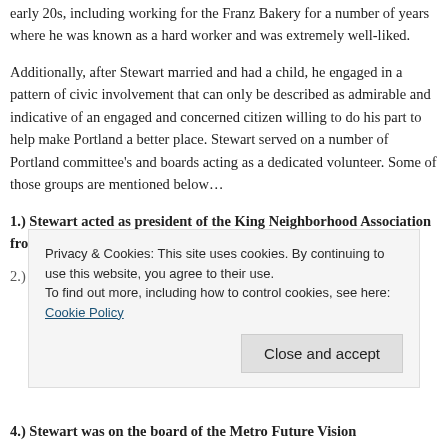early 20s, including working for the Franz Bakery for a number of years where he was known as a hard worker and was extremely well-liked.
Additionally, after Stewart married and had a child, he engaged in a pattern of civic involvement that can only be described as admirable and indicative of an engaged and concerned citizen willing to do his part to help make Portland a better place. Stewart served on a number of Portland committee's and boards acting as a dedicated volunteer. Some of those groups are mentioned below…
1.) Stewart acted as president of the King Neighborhood Association from 1990 to 1999.
Privacy & Cookies: This site uses cookies. By continuing to use this website, you agree to their use. To find out more, including how to control cookies, see here: Cookie Policy
4.) Stewart was on the board of the Metro Future Vision